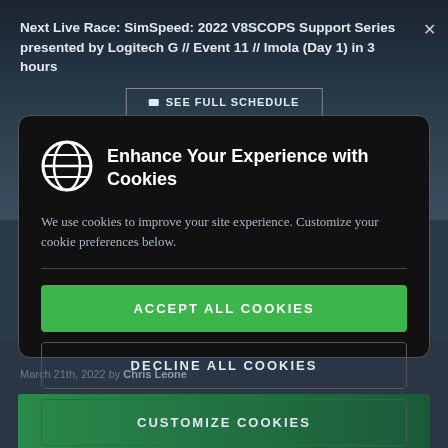Next Live Race: SimSpeed: 2022 V8SCOPS Support Series presented by Logitech G // Event 11 // Imola (Day 1) in 3 hours
SEE FULL SCHEDULE
Enhance Your Experience with Cookies
We use cookies to improve your site experience. Customize your cookie preferences below.
ACCEPT ALL COOKIES
DECLINE ALL COOKIES
CUSTOMIZE COOKIES
March 21th, 2022 by Chris Leone